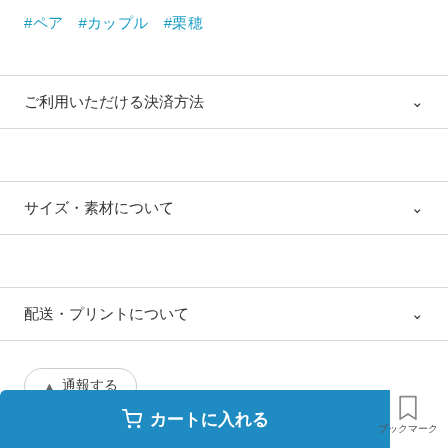#ペア #カップル #栗穂
ご利用いただける決済方法
サイズ・素材について
配送・プリントについて
▲ 通報する
✈ シェア
🛒 カートに入れる
ブックマーク